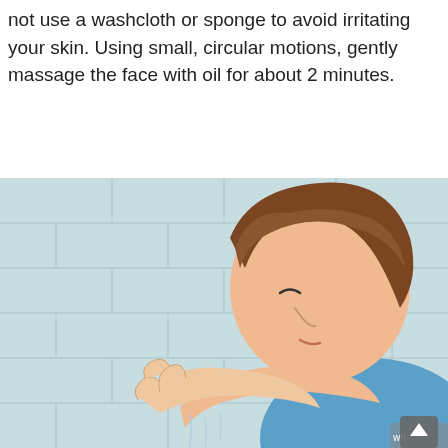not use a washcloth or sponge to avoid irritating your skin. Using small, circular motions, gently massage the face with oil for about 2 minutes.
[Figure (illustration): Anime-style illustration of a person with brown hair leaning over cupped hands filled with water near a tiled wall background, with water droplets falling. The person has eyes closed and is wearing a blue shirt.]